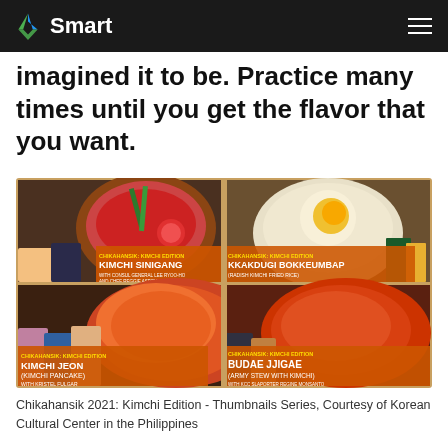Smart
imagined it to be. Practice many times until you get the flavor that you want.
[Figure (illustration): 2x2 grid of Chikahansik Kimchi Edition video thumbnails: Kimchi Sinigang with Consul General Lee Ryoo-Ho and Chef Reggie Aspiras; Kkakdugi Bokkeumbap (Radish Kimchi Fried Rice); Kimchi Jeon (Kimchi Pancake) with Kristel Fulgar; Budae Jjigae (Army Stew with Kimchi) with KCC Slaporter Regine Monsanto]
Chikahansik 2021: Kimchi Edition - Thumbnails Series, Courtesy of Korean Cultural Center in the Philippines